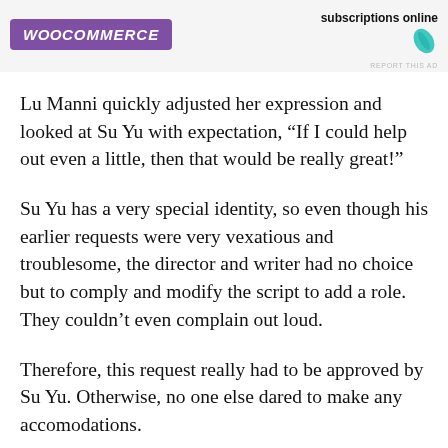[Figure (other): WooCommerce advertisement banner with purple logo and text 'subscriptions online' with a teal leaf icon and 'REPORT THIS AD' label]
Lu Manni quickly adjusted her expression and looked at Su Yu with expectation, “If I could help out even a little, then that would be really great!”
Su Yu has a very special identity, so even though his earlier requests were very vexatious and troublesome, the director and writer had no choice but to comply and modify the script to add a role. They couldn’t even complain out loud.
Therefore, this request really had to be approved by Su Yu. Otherwise, no one else dared to make any accomodations.
In accordance with Su Yu’s plans to cause more explosions along the way, he should have directly shook his head and refused, continuing to be